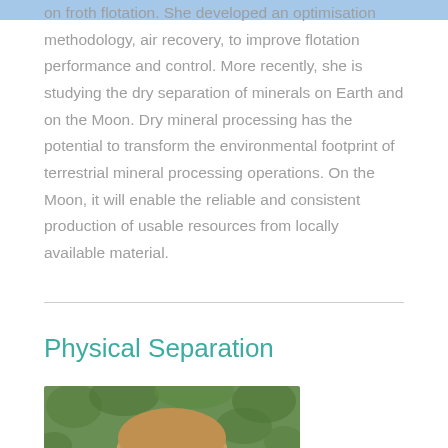on froth flotation. She developed an optimisation methodology, air recovery, to improve flotation performance and control. More recently, she is studying the dry separation of minerals on Earth and on the Moon. Dry mineral processing has the potential to transform the environmental footprint of terrestrial mineral processing operations. On the Moon, it will enable the reliable and consistent production of usable resources from locally available material.
Physical Separation
[Figure (photo): Portrait photo of a woman with blonde hair against a green leafy background, cropped at the bottom of the page]